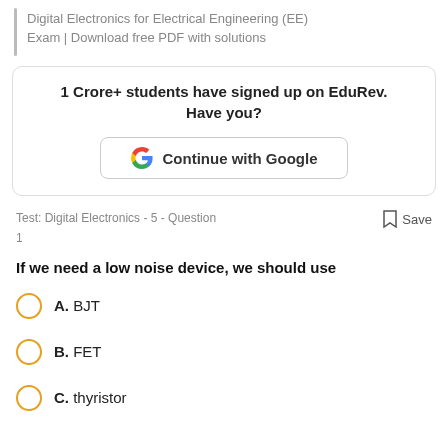Digital Electronics for Electrical Engineering (EE) Exam | Download free PDF with solutions
1 Crore+ students have signed up on EduRev. Have you?
[Figure (other): Continue with Google button with Google logo]
Test: Digital Electronics - 5 - Question 1
Save
If we need a low noise device, we should use
A. BJT
B. FET
C. thyristor